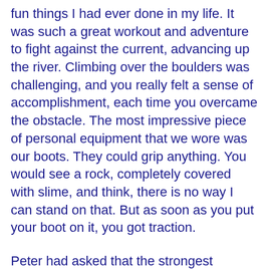fun things I had ever done in my life. It was such a great workout and adventure to fight against the current, advancing up the river. Climbing over the boulders was challenging, and you really felt a sense of accomplishment, each time you overcame the obstacle. The most impressive piece of personal equipment that we wore was our boots. They could grip anything. You would see a rock, completely covered with slime, and think, there is no way I can stand on that. But as soon as you put your boot on it, you got traction.
Peter had asked that the strongest members hang back, and help the others. Within minutes, and without any real discussion, his people formed a team, and a system, which got every member of the group over every obstacle. On the larger stones, the two guides would tie a rope between them. One would scale the obstacle, and the other would remain at the bottom, pulling the rope taut. The team members would the use the rope as a direct assist, to climb up and over. If anyone had